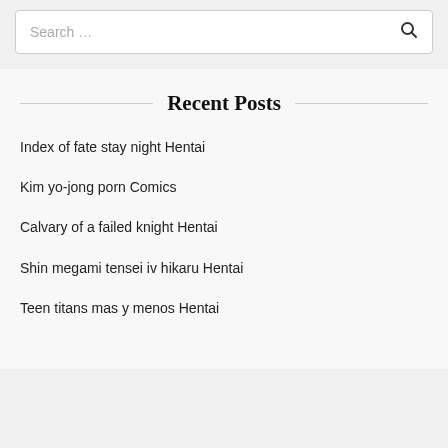Search ...
Recent Posts
Index of fate stay night Hentai
Kim yo-jong porn Comics
Calvary of a failed knight Hentai
Shin megami tensei iv hikaru Hentai
Teen titans mas y menos Hentai